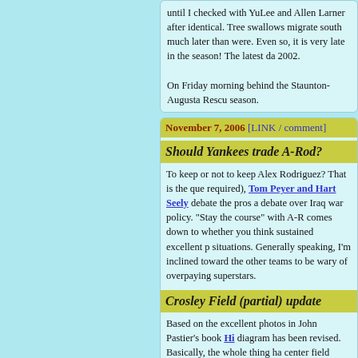until I checked with YuLee and Allen Larner after identical. Tree swallows migrate south much later than were. Even so, it is very late in the season! The latest da 2002.
On Friday morning behind the Staunton-Augusta Rescu season.
November 7, 2006 [LINK / comment]
Should Yankees trade A-Rod?
To keep or not to keep Alex Rodriguez? That is the que required), Tom Peyer and Hart Seely debate the pros a debate over Iraq war policy. "Stay the course" with A-R comes down to whether you think sustained excellent p situations. Generally speaking, I'm inclined toward the other teams to be wary of overpaying superstars.
Crosley Field (partial) update
Based on the excellent photos in John Pastier's book Hi diagram has been revised. Basically, the whole thing ha center field fence is not perpendicular to the home-plat helps reconcile various anomalies. Additional "dynami of the new edition of Philip Lowry's Green Cathedrals.
Also, I corrected the distance markers in right side of th were 318 feet from home plate, not 315 feet. Thanks to attention. I'm still not sure about the precise configurati however.
More "agony of defeat" at RFK